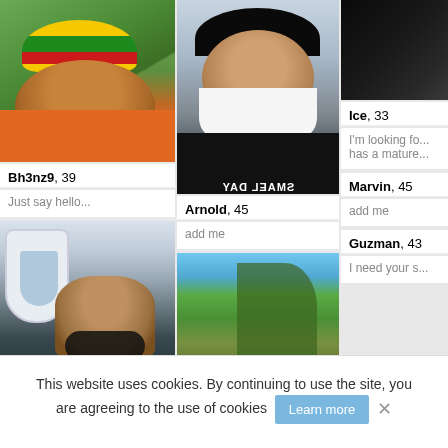[Figure (photo): Profile photo of man wearing colorful rasta hat and orange shirt outdoors]
Bh3nz9, 39
Just say hello...
[Figure (photo): Profile photo of man in airplane cabin wearing sunglasses]
[Figure (photo): Profile photo of man in black cap and face mask inside a vehicle, wearing black AG Jeans shirt]
Arnold, 45
add me
[Figure (photo): Partial photo showing outdoor scene with trees]
[Figure (photo): Partial dark profile photo]
Ice, 33
I'm looking fo... has a mature...
Marvin, 45
add me
Guzman, 43
I need your s...
This website uses cookies. By continuing to use the site, you are agreeing to the use of cookies